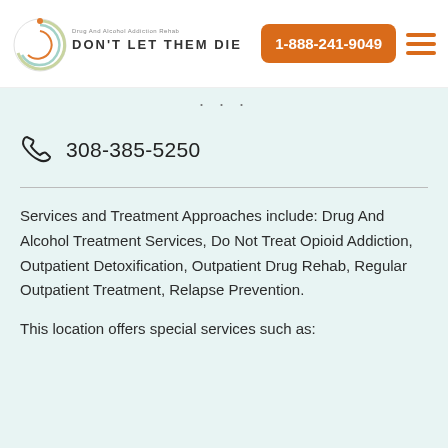DON'T LET THEM DIE | 1-888-241-9049
308-385-5250
Services and Treatment Approaches include: Drug And Alcohol Treatment Services, Do Not Treat Opioid Addiction, Outpatient Detoxification, Outpatient Drug Rehab, Regular Outpatient Treatment, Relapse Prevention.
This location offers special services such as: